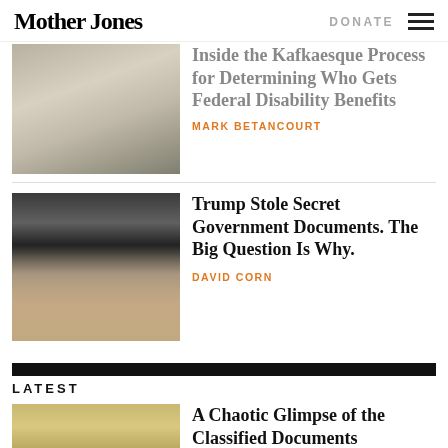Mother Jones | DONATE
Inside the Kafkaesque Process for Determining Who Gets Federal Disability Benefits
MARK BETANCOURT
Trump Stole Secret Government Documents. The Big Question Is Why.
DAVID CORN
LATEST
A Chaotic Glimpse of the Classified Documents